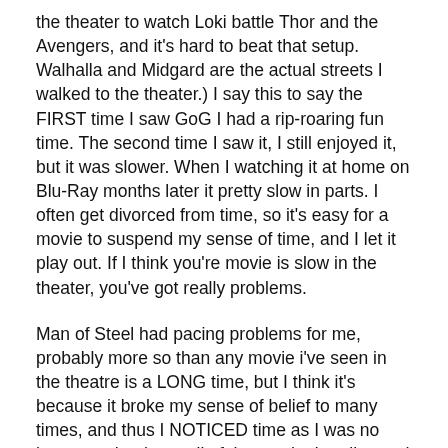the theater to watch Loki battle Thor and the Avengers, and it's hard to beat that setup. Walhalla and Midgard are the actual streets I walked to the theater.) I say this to say the FIRST time I saw GoG I had a rip-roaring fun time. The second time I saw it, I still enjoyed it, but it was slower. When I watching it at home on Blu-Ray months later it pretty slow in parts. I often get divorced from time, so it's easy for a movie to suspend my sense of time, and I let it play out. If I think you're movie is slow in the theater, you've got really problems.
Man of Steel had pacing problems for me, probably more so than any movie i've seen in the theatre is a LONG time, but I think it's because it broke my sense of belief to many times, and thus I NOTICED time as I was no longer under the spell of the movie. I really need to watch it again. (I have real problems with MoS.)
I think I need to re-watch IM 1-3 and CA1 too, but from my